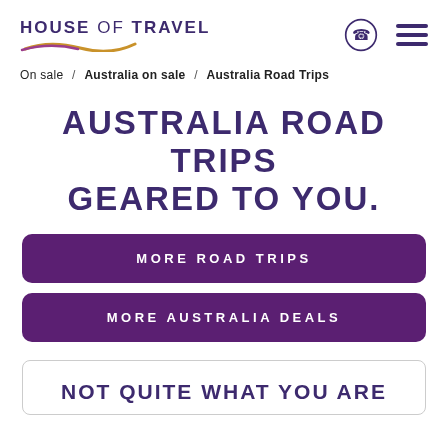HOUSE OF TRAVEL
On sale / Australia on sale / Australia Road Trips
AUSTRALIA ROAD TRIPS GEARED TO YOU.
MORE ROAD TRIPS
MORE AUSTRALIA DEALS
NOT QUITE WHAT YOU ARE